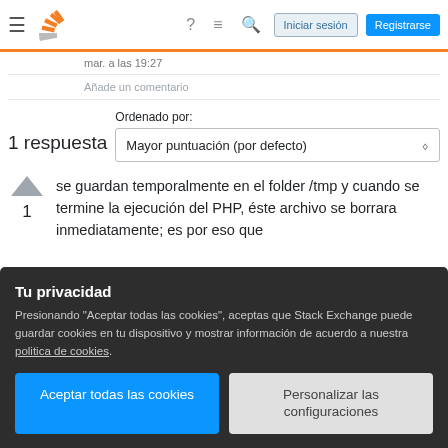Stack Overflow navigation bar with Iniciar sesión and Registrarse buttons
mar. a las 19:27
Añade un comentario
1 respuesta
Ordenado por:
Mayor puntuación (por defecto)
se guardan temporalmente en el folder /tmp y cuando se termine la ejecución del PHP, éste archivo se borrara inmediatamente; es por eso que
Tu privacidad
Presionando "Aceptar todas las cookies", aceptas que Stack Exchange puede guardar cookies en tu dispositivo y mostrar información de acuerdo a nuestra politica de cookies.
Aceptar todas las cookies
Personalizar las configuraciones